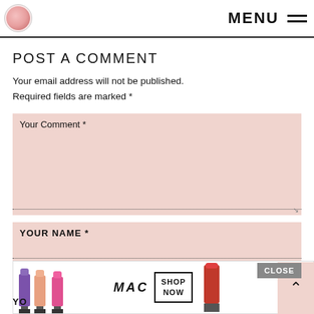MENU
POST A COMMENT
Your email address will not be published. Required fields are marked *
Your Comment *
YOUR NAME *
[Figure (screenshot): MAC cosmetics advertisement banner showing colorful lipsticks, MAC logo, SHOP NOW button, and red lipstick image. CLOSE button overlay visible.]